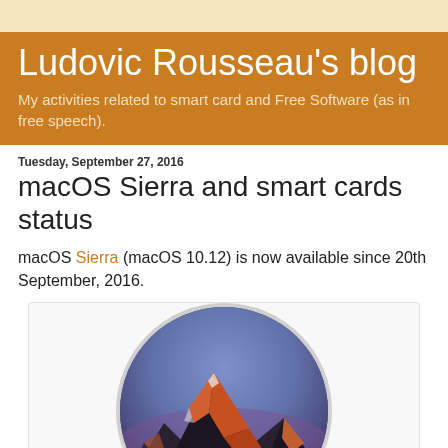Ludovic Rousseau's blog — My activities related to smart card and Free Software (as in free speech).
Tuesday, September 27, 2016
macOS Sierra and smart cards status
macOS Sierra (macOS 10.12) is now available since 20th September, 2016.
[Figure (photo): macOS Sierra logo — a circular icon showing a mountain landscape (Sierra Nevada) with orange-lit rocky peaks against a purple/blue sky, with a light grey circular border.]